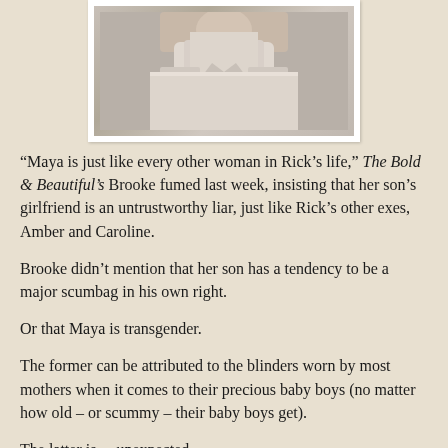[Figure (photo): Partial photo of a person in white clothing, shown from shoulders/torso area, displayed in a white-framed photo print style]
“Maya is just like every other woman in Rick’s life,” The Bold & Beautiful’s Brooke fumed last week, insisting that her son’s girlfriend is an untrustworthy liar, just like Rick’s other exes, Amber and Caroline.
Brooke didn’t mention that her son has a tendency to be a major scumbag in his own right.
Or that Maya is transgender.
The former can be attributed to the blinders worn by most mothers when it comes to their precious baby boys (no matter how old – or scummy – their baby boys get).
The latter is… unexpected.
When B&B first dropped their Maya is Transgender bombshell back in March, fans instantly began speculating